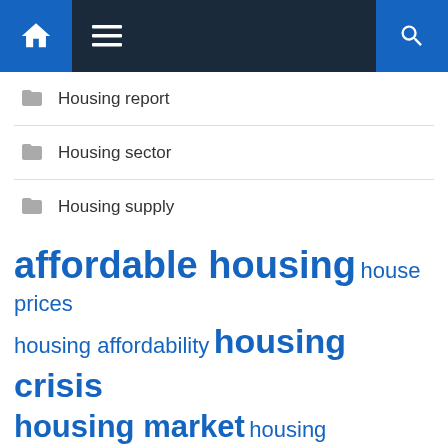Navigation bar with home, menu, and search icons
Housing report
Housing sector
Housing supply
[Figure (infographic): Tag cloud with housing-related terms in various sizes: affordable housing (largest), housing crisis (large), house prices (medium), housing affordability (medium), housing market (large), housing sector (medium), housing stock (small), housing supply (large), housing units (small), interest rates (small), long term (medium), real estate (large), short term (small)]